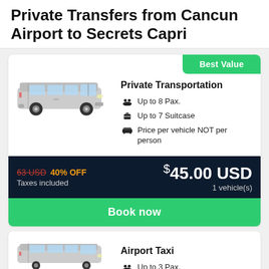Private Transfers from Cancun Airport to Secrets Capri
[Figure (illustration): Silver VW Transporter minivan viewed from the side]
Private Transportation
Up to 8 Pax.
Up to 7 Suitcase
Price per vehicle NOT per person
63 USD  40% OFF  $45.00 USD  Taxes included  1 vehicle(s)
Book now
[Figure (illustration): Silver minivan/taxi partially visible at bottom of page]
Airport Taxi
Up to 3 Pax.
Up to 7 Suitcase